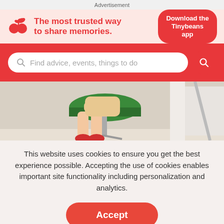Advertisement
[Figure (other): Tinybeans advertisement banner: logo with red cherry/sprout icon, text 'The most trusted way to share memories.', button 'Download the Tinybeans app']
[Figure (other): Search bar on red background: 'Find advice, events, things to do' with search icon and red search button]
[Figure (photo): Child sitting on a green stool/chair with red shoes, feet dangling, white room background]
This website uses cookies to ensure you get the best experience possible. Accepting the use of cookies enables important site functionality including personalization and analytics.
Accept
Decline